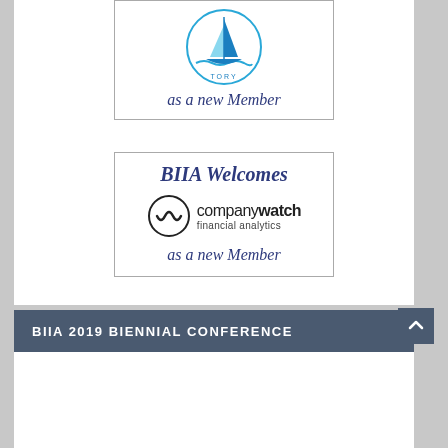[Figure (logo): TORY sailing boat logo inside circle, blue color]
as a new Member
BIIA Welcomes
[Figure (logo): Companywatch financial analytics logo with circular W icon]
as a new Member
BIIA 2019 BIENNIAL CONFERENCE